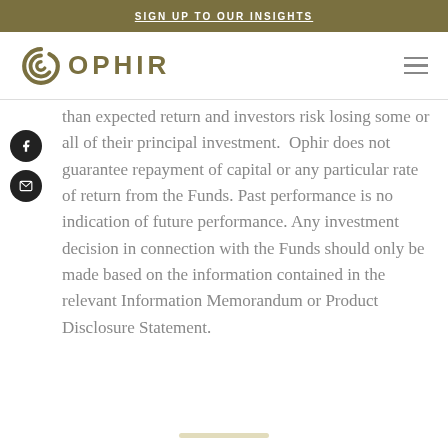SIGN UP TO OUR INSIGHTS
[Figure (logo): Ophir logo with spiral icon and text OPHIR]
than expected return and investors risk losing some or all of their principal investment.  Ophir does not guarantee repayment of capital or any particular rate of return from the Funds. Past performance is no indication of future performance. Any investment decision in connection with the Funds should only be made based on the information contained in the relevant Information Memorandum or Product Disclosure Statement.